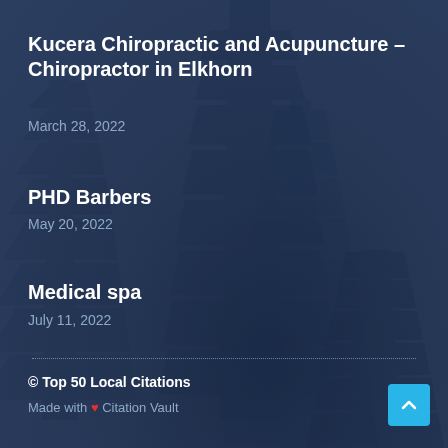[Figure (illustration): Dark navy blue background with pine/fir tree silhouettes embedded in the background texture]
Kucera Chiropractic and Acupuncture – Chiropractor in Elkhorn
March 28, 2022
PHD Barbers
May 20, 2022
Medical spa
July 11, 2022
© Top 50 Local Citations
Made with ❤ Citation Vault